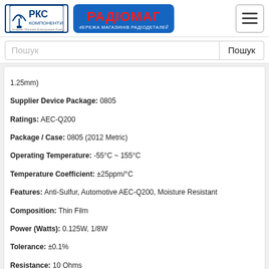РКС КОМПОНЕНТИ | РАДІОМАГ МЕРЕЖА МАГАЗИНІВ РАДІОДЕТАЛЕЙ
Пошук
1.25mm)
Supplier Device Package: 0805
Ratings: AEC-Q200
Package / Case: 0805 (2012 Metric)
Operating Temperature: -55°C ~ 155°C
Temperature Coefficient: ±25ppm/°C
Features: Anti-Sulfur, Automotive AEC-Q200, Moisture Resistant
Composition: Thin Film
Power (Watts): 0.125W, 1/8W
Tolerance: ±0.1%
Resistance: 10 Ohms
Part Status: Active
на замовлення 5916 шт 🚚
термін постачання 14-21 дні (днів)
на замовлення 3616 шт - ціна та термін постачання
купити
RNC70J75R0FRB14
Виробник: Vishay Dale
Description: RES 75 OHM 1% 3/4W AXIAL